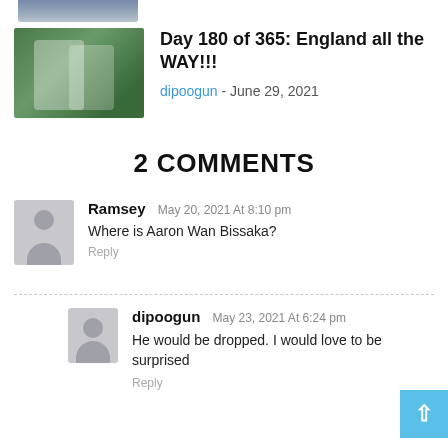[Figure (photo): Partial cropped photo of football players at top of page]
[Figure (photo): Soccer/football match photo showing players on green pitch]
Day 180 of 365: England all the WAY!!!
dipoogun - June 29, 2021
2 COMMENTS
[Figure (photo): User avatar silhouette for Ramsey]
Ramsey May 20, 2021 At 8:10 pm
Where is Aaron Wan Bissaka?
Reply
[Figure (photo): User avatar silhouette for dipoogun]
dipoogun May 23, 2021 At 6:24 pm
He would be dropped. I would love to be surprised
Reply